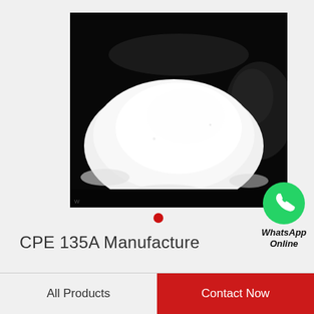[Figure (photo): Photo of white powder (CPE 135A chemical product) on a dark/black background, showing a large mound of fine white powder]
[Figure (logo): WhatsApp green circular logo icon with white phone handset, accompanied by text 'WhatsApp Online']
CPE 135A Manufacture
All Products
Contact Now